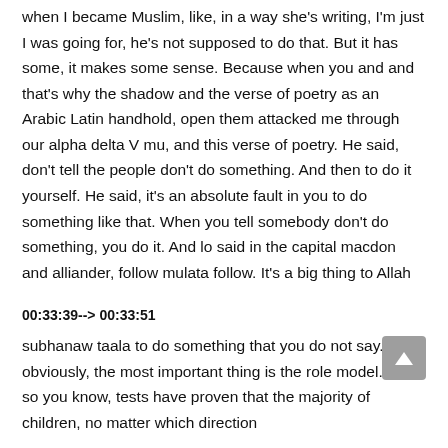when I became Muslim, like, in a way she's writing, I'm just I was going for, he's not supposed to do that. But it has some, it makes some sense. Because when you and and that's why the shadow and the verse of poetry as an Arabic Latin handhold, open them attacked me through our alpha delta V mu, and this verse of poetry. He said, don't tell the people don't do something. And then to do it yourself. He said, it's an absolute fault in you to do something like that. When you tell somebody don't do something, you do it. And lo said in the capital macdon and alliander, follow mulata follow. It's a big thing to Allah
00:33:39--> 00:33:51
subhanaw taala to do something that you do not say. So obviously, the most important thing is the role model. And so you know, tests have proven that the majority of children, no matter which direction